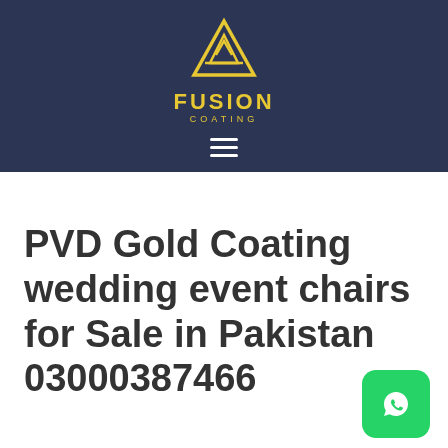[Figure (logo): Fusion Coating logo with yellow geometric triangle/mountain icon and text 'FUSION COATING' on dark navy blue background with hamburger menu icon]
PVD Gold Coating wedding event chairs for Sale in Pakistan 03000387466